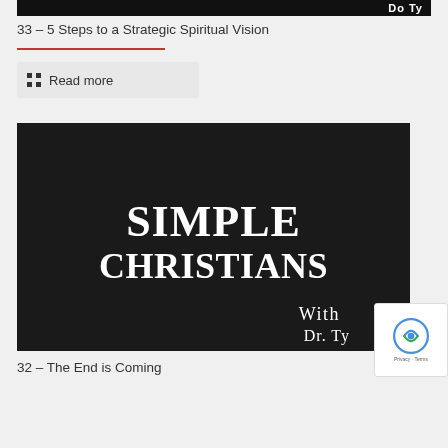[Figure (screenshot): Partial dark banner image at top with white text partially visible showing 'Do Tu']
33 – 5 Steps to a Strategic Spiritual Vision
Read more
[Figure (screenshot): Black background image with white bold serif text reading 'SIMPLE CHRISTIANS' with 'With' and 'Dr. Ty' partially visible at bottom right]
32 – The End is Coming